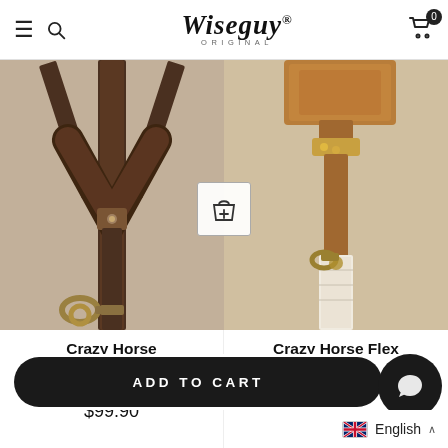Wiseguy Original — navigation header with hamburger menu, search, logo, and cart (0 items)
[Figure (photo): Close-up of dark brown/chocolate leather slim suspenders with brass hardware and swivel clip, on left half of image area]
[Figure (photo): Close-up of camel brown leather and cream fabric flex suspenders with brass swivel snap, on right half of image area]
Crazy Horse
Slim Suspenders
No. L2010
$99.90
Crazy Horse Flex
Camel Brown Skinny Suspenders
No. F2112
ADD TO CART
English